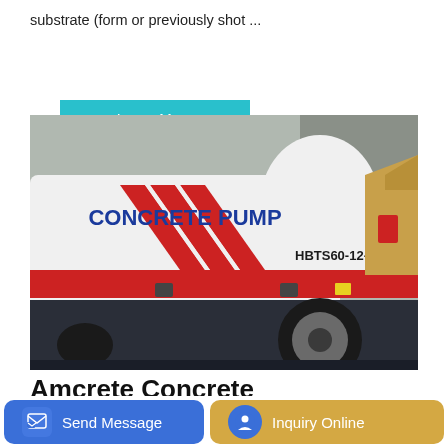substrate (form or previously shot ...
Learn More
[Figure (photo): A white concrete pump machine labeled 'CONCRETE PUMP' with red chevron stripes and model number HBTS60-12-82R on the side, photographed outdoors.]
Amcrete Concrete Construction Concrete Pumping
Send Message
Inquiry Online
Concrete Pumping and Construction Amcrete is a full-service